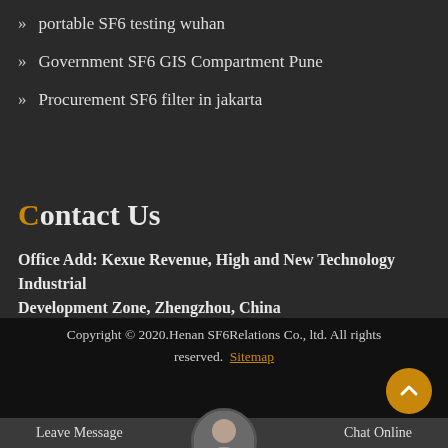portable SF6 testing wuhan
Government SF6 GIS Compartment Pune
Procurement SF6 filter in jakarta
Contact Us
Office Add: Kexue Revenue, High and New Technology Industrial Development Zone, Zhengzhou, China
Copyright © 2020.Henan SF6Relations Co., ltd. All rights reserved. Sitemap
Leave Message
Chat Online